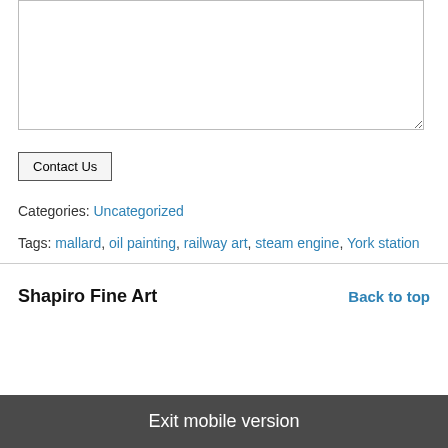[textarea]
Contact Us
Categories: Uncategorized
Tags: mallard, oil painting, railway art, steam engine, York station
Shapiro Fine Art
Back to top
Exit mobile version